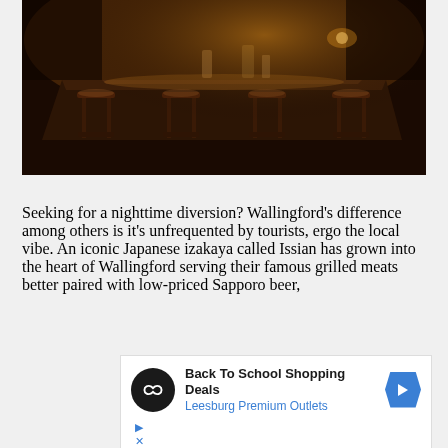[Figure (photo): Interior of a dimly lit bar with dark wood bar counter, bar stools, and warm amber lighting]
Seeking for a nighttime diversion? Wallingford's difference among others is it's unfrequented by tourists, ergo the local vibe. An iconic Japanese izakaya called Issian has grown into the heart of Wallingford serving their famous grilled meats better paired with low-priced Sapporo beer,
[Figure (other): Advertisement banner: Back To School Shopping Deals, Leesburg Premium Outlets, with black circular logo with infinity symbol and blue diamond arrow icon]